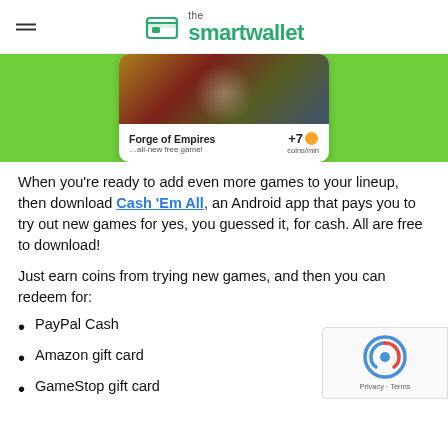the smartwallet
[Figure (screenshot): Forge of Empires game card on Cash Em All app showing +7 coins/min reward, on a green background]
When you’re ready to add even more games to your lineup, then download Cash ‘Em All, an Android app that pays you to try out new games for yes, you guessed it, for cash. All are free to download!
Just earn coins from trying new games, and then you can redeem for:
PayPal Cash
Amazon gift card
GameStop gift card